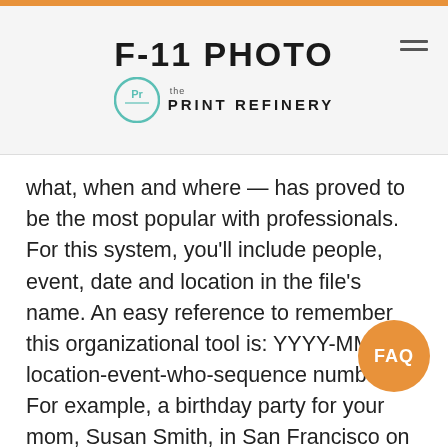F-11 PHOTO | the PRINT REFINERY
what, when and where — has proved to be the most popular with professionals. For this system, you'll include people, event, date and location in the file's name. An easy reference to remember this organizational tool is: YYYY-MM-DD-location-event-who-sequence number. For example, a birthday party for your mom, Susan Smith, in San Francisco on May 23 would look like this: 2017-05-23-san-francisco-birthday-party-mom-susan-smith-JPG-2839.
Once you have named individual files, you